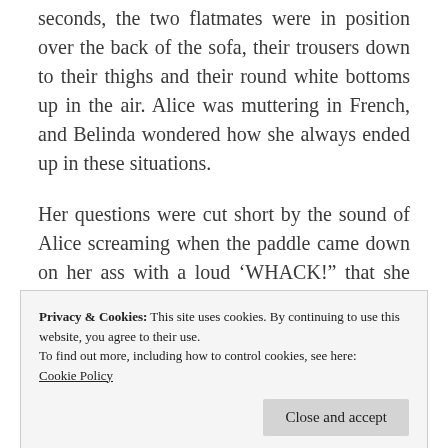seconds, the two flatmates were in position over the back of the sofa, their trousers down to their thighs and their round white bottoms up in the air. Alice was muttering in French, and Belinda wondered how she always ended up in these situations.
Her questions were cut short by the sound of Alice screaming when the paddle came down on her ass with a loud ‘WHACK!” that she swore made the windows tremble. She looked
Privacy & Cookies: This site uses cookies. By continuing to use this website, you agree to their use.
To find out more, including how to control cookies, see here:
Cookie Policy
Close and accept
that she would be next. Then, suddenly, pain